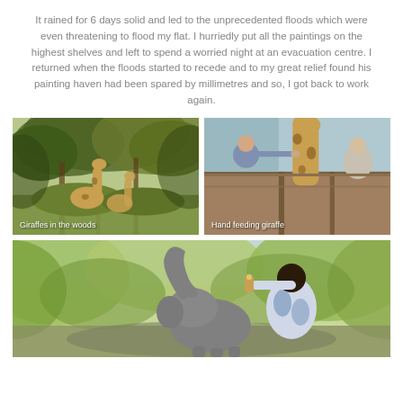It rained for 6 days solid and led to the unprecedented floods which were even threatening to flood my flat. I hurriedly put all the paintings on the highest shelves and left to spend a worried night at an evacuation centre. I returned when the floods started to recede and to my great relief found his painting haven had been spared by millimetres and so, I got back to work again.
[Figure (photo): Two giraffes standing among trees and green foliage in a woodland setting. Caption: Giraffes in the woods]
[Figure (photo): Two people on a deck/platform hand feeding a giraffe. Caption: Hand feeding giraffe]
[Figure (photo): A person in a blue shirt bottle-feeding a baby elephant against a green leafy background]